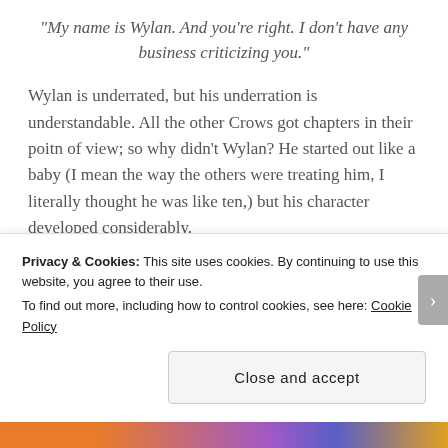“My name is Wylan. And you’re right. I don’t have any business criticizing you.”
Wylan is underrated, but his underration is understandable. All the other Crows got chapters in their poitn of view; so why didn’t Wylan? He started out like a baby (I mean the way the others were treating him, I literally thought he was like ten,) but his character developed considerably.
I did not see that plot twist coming in the end, and Wylan was a substantial part of it. His father
Privacy & Cookies: This site uses cookies. By continuing to use this website, you agree to their use.
To find out more, including how to control cookies, see here: Cookie Policy
Close and accept